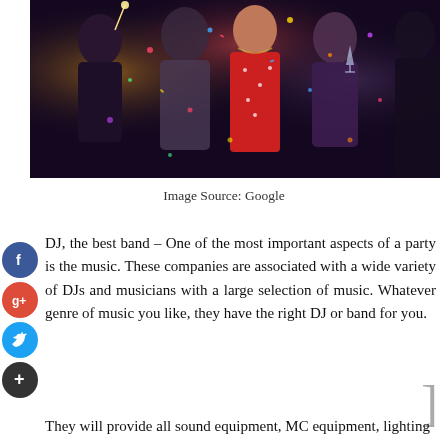[Figure (photo): Party scene with people celebrating, holding sparklers and glasses, with confetti falling, dark nightclub background]
Image Source: Google
DJ, the best band – One of the most important aspects of a party is the music. These companies are associated with a wide variety of DJs and musicians with a large selection of music. Whatever genre of music you like, they have the right DJ or band for you.
They will provide all sound equipment, MC equipment, lighting